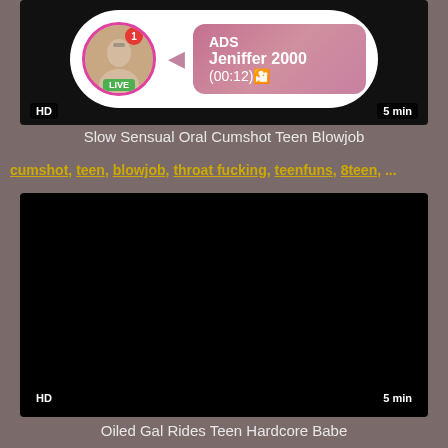[Figure (screenshot): Video thumbnail with black background showing an advertisement overlay. The ad shows a circular profile photo of a young woman with a pink/magenta border and a green LIVE badge. A pink gradient box shows 'ADS', 'Jeniffer 2000', and '(00:12)'. HD badge bottom-left, '5 min' badge bottom-right.]
Slow Sensual Oral Cumshot Teen Blowjob
cumshot, teen, blowjob, throat fucking, teenfuns, 8teen, ...
[Figure (screenshot): Black video thumbnail with HD badge bottom-left and '5 min' badge bottom-right.]
Oiled Gal Rides Teen Hardcore Babe